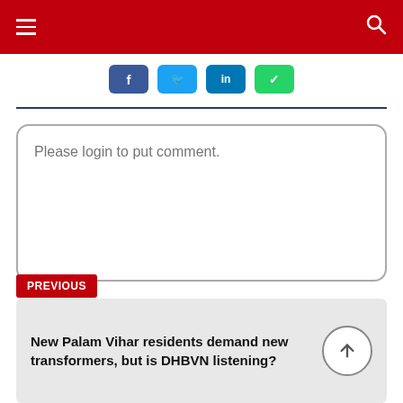Navigation bar with hamburger menu and search icon
[Figure (other): Social sharing buttons row: Facebook, Twitter, LinkedIn, WhatsApp]
Please login to put comment.
Submit
PREVIOUS
New Palam Vihar residents demand new transformers, but is DHBVN listening?